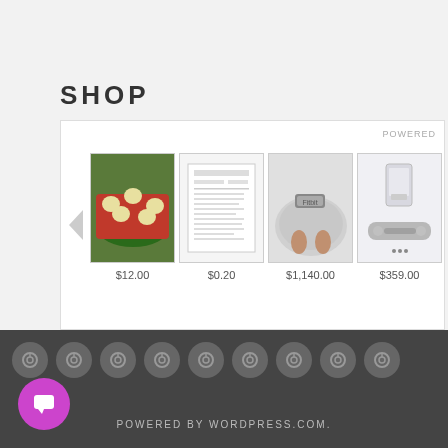SHOP
[Figure (screenshot): E-commerce shop widget showing 4 product thumbnails with prices: food item $12.00, document $0.20, weight scale $1,140.00, tech accessories $359.00. Has a POWERED label in top right and left navigation arrow.]
POWERED BY WORDPRESS.COM.